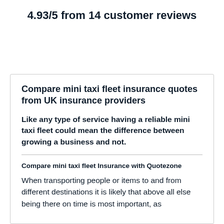4.93/5 from 14 customer reviews
Compare mini taxi fleet insurance quotes from UK insurance providers
Like any type of service having a reliable mini taxi fleet could mean the difference between growing a business and not.
Compare mini taxi fleet Insurance with Quotezone
When transporting people or items to and from different destinations it is likely that above all else being there on time is most important, as